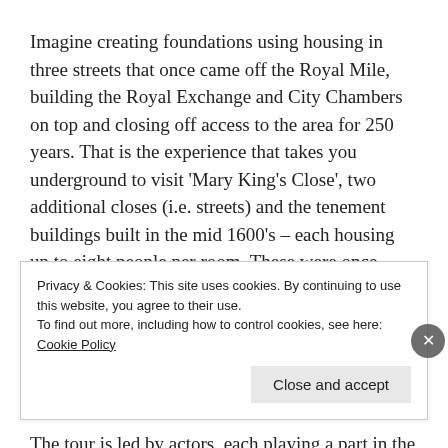Imagine creating foundations using housing in three streets that once came off the Royal Mile, building the Royal Exchange and City Chambers on top and closing off access to the area for 250 years. That is the experience that takes you underground to visit 'Mary King's Close', two additional closes (i.e. streets) and the tenement buildings built in the mid 1600's – each housing up to eight people per room. These were once bustling city streets in Edinburgh's old town.
It's not often that a prime residential space like this is mothballed, allowing us a peak into the untouched past.
The tour is led by actors, each playing a part in the history of the
Privacy & Cookies: This site uses cookies. By continuing to use this website, you agree to their use.
To find out more, including how to control cookies, see here: Cookie Policy